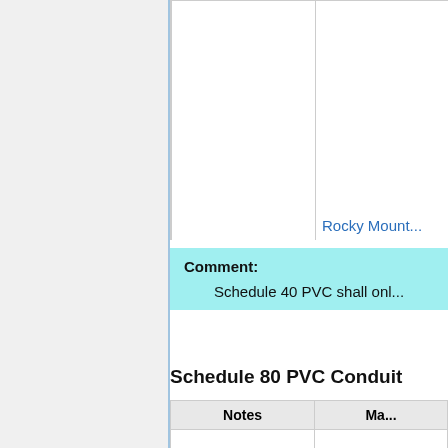| Notes | Ma... |
| --- | --- |
|  | Rocky Mount... |
Comment: Schedule 40 PVC shall onl...
Schedule 80 PVC Conduit
| Notes | Ma... |
| --- | --- |
|  | Cantex |